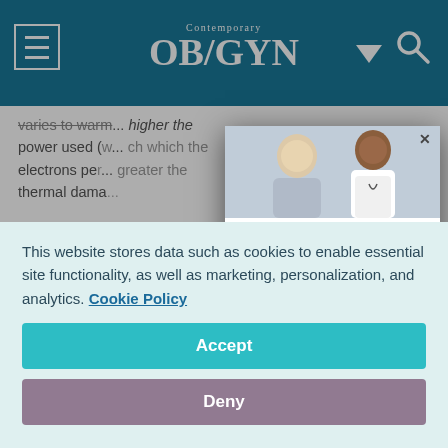Contemporary OB/GYN
varies to warm ... higher the power used (... with which the electrons per... greater the thermal dama...
[Figure (screenshot): Dark navy article section with gold text reading FACT and RMAL, with a wave subsection below in italic white text]
[Figure (photo): Newsletter modal popup showing doctor consulting with elderly patient, with headline Save time with clinical highlights and industry trends to your inbox! and body text about eNewsletter access]
Save time with clinical highlights and industry trends to your inbox!
Our eNewsletter gives you access to the leading source for breaking industry news and the latest innovations in OB/GYN.
This website stores data such as cookies to enable essential site functionality, as well as marketing, personalization, and analytics. Cookie Policy
Accept
Deny